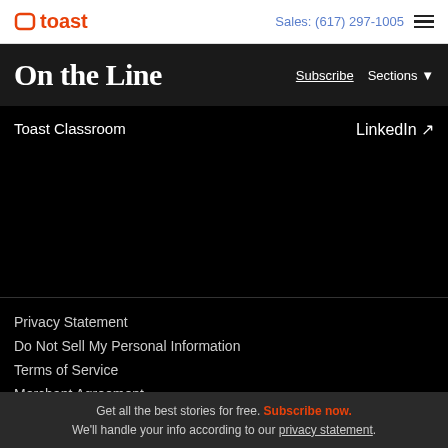toast  Sales: (617) 297-1005
On the Line
Subscribe  Sections ▼
Toast Classroom
LinkedIn ↗
Privacy Statement
Do Not Sell My Personal Information
Terms of Service
Merchant Agreement
Get all the best stories for free. Subscribe now. We'll handle your info according to our privacy statement.